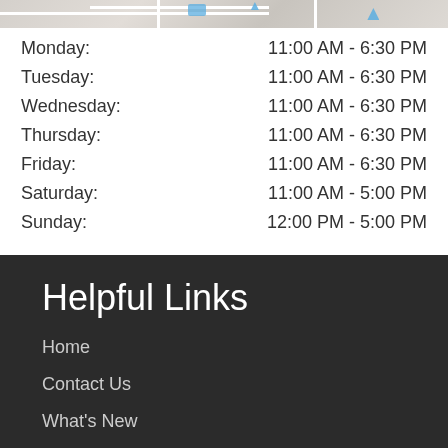[Figure (map): Partial map view showing streets and a blue highlighted route/area at the top of the page]
| Day | Hours |
| --- | --- |
| Monday: | 11:00 AM - 6:30 PM |
| Tuesday: | 11:00 AM - 6:30 PM |
| Wednesday: | 11:00 AM - 6:30 PM |
| Thursday: | 11:00 AM - 6:30 PM |
| Friday: | 11:00 AM - 6:30 PM |
| Saturday: | 11:00 AM - 5:00 PM |
| Sunday: | 12:00 PM - 5:00 PM |
Helpful Links
Home
Contact Us
What's New